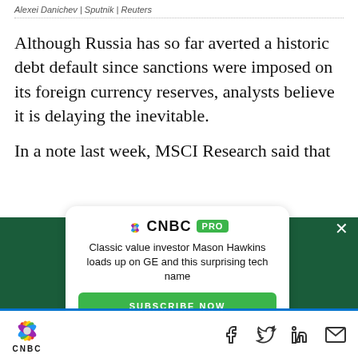Alexei Danichev | Sputnik | Reuters
Although Russia has so far averted a historic debt default since sanctions were imposed on its foreign currency reserves, analysts believe it is delaying the inevitable.
In a note last week, MSCI Research said that
[Figure (infographic): CNBC PRO advertisement overlay on dark green background. White rounded card with CNBC PRO logo, text 'Classic value investor Mason Hawkins loads up on GE and this surprising tech name', and a green SUBSCRIBE NOW button. Dark green background. Close (X) button top right.]
CNBC logo with social sharing icons: Facebook, Twitter, LinkedIn, Email